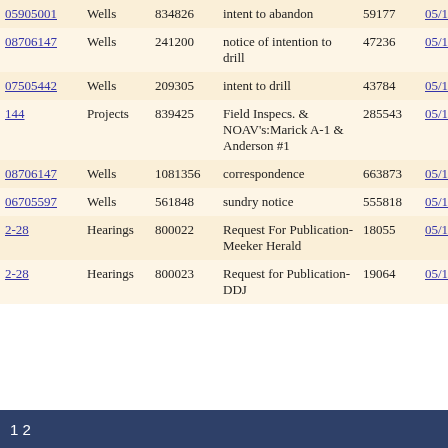| ID | Type | Number | Description | Doc ID | Date |
| --- | --- | --- | --- | --- | --- |
| 05905001 | Wells | 834826 | intent to abandon | 59177 | 05/16/1 |
| 08706147 | Wells | 241200 | notice of intention to drill | 47236 | 05/16/1 |
| 07505442 | Wells | 209305 | intent to drill | 43784 | 05/16/1 |
| 144 | Projects | 839425 | Field Inspecs. & NOAV's:Marick A-1 & Anderson #1 | 285543 | 05/16/1 |
| 08706147 | Wells | 1081356 | correspondence | 663873 | 05/16/1 |
| 06705597 | Wells | 561848 | sundry notice | 555818 | 05/16/1 |
| 2-28 | Hearings | 800022 | Request For Publication-Meeker Herald | 18055 | 05/16/1 |
| 2-28 | Hearings | 800023 | Request for Publication-DDJ | 19064 | 05/16/1 |
1 2